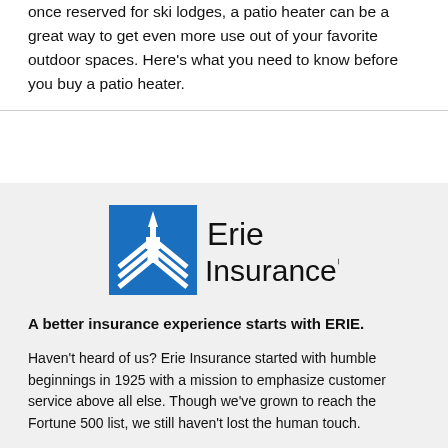once reserved for ski lodges, a patio heater can be a great way to get even more use out of your favorite outdoor spaces. Here's what you need to know before you buy a patio heater.
[Figure (logo): Erie Insurance logo — blue square with white building/chevron icon on the left, 'Erie Insurance' text with registered trademark symbol on the right]
A better insurance experience starts with ERIE.
Haven't heard of us? Erie Insurance started with humble beginnings in 1925 with a mission to emphasize customer service above all else. Though we've grown to reach the Fortune 500 list, we still haven't lost the human touch.
Contact The Insurance Pros today to experience the ERIE difference for yourself.